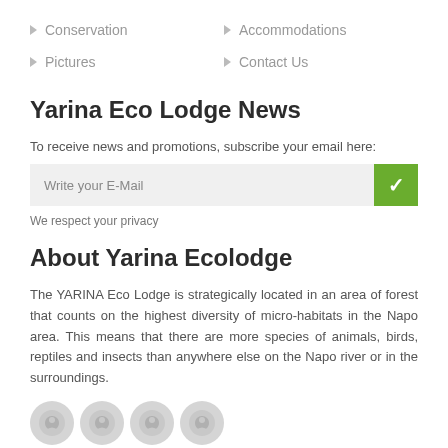Conservation
Accommodations
Pictures
Contact Us
Yarina Eco Lodge News
To receive news and promotions, subscribe your email here:
Write your E-Mail
We respect your privacy
About Yarina Ecolodge
The YARINA Eco Lodge is strategically located in an area of forest that counts on the highest diversity of micro-habitats in the Napo area. This means that there are more species of animals, birds, reptiles and insects than anywhere else on the Napo river or in the surroundings.
[Figure (illustration): Four circular social media or share icons, partially visible at the bottom of the page]